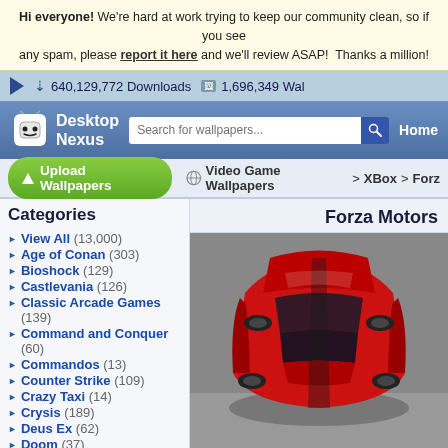Hi everyone! We're hard at work trying to keep our community clean, so if you see any spam, please report it here and we'll review ASAP! Thanks a million!
640,129,772 Downloads   1,696,349 Wal...
[Figure (screenshot): Desktop Nexus logo with white ghost-like mascot icon and site name]
Search for wallpapers...
Home
Upload Wallpapers
Video Game Wallpapers > XBox > Forz...
Categories
View All (13,000)
Age of Conan (303)
Bioshock (129)
Castlevania (126)
Classic Arcade Games (139)
Command and Conquer (60)
Commandos (13)
Counter Strike (109)
Crazy Taxi (14)
Crysis (189)
Deus Ex (62)
Doom (37)
Everquest (55)
Forza Motors...
[Figure (photo): Top-down view of a red and black sports car (Forza Motorsport wallpaper)]